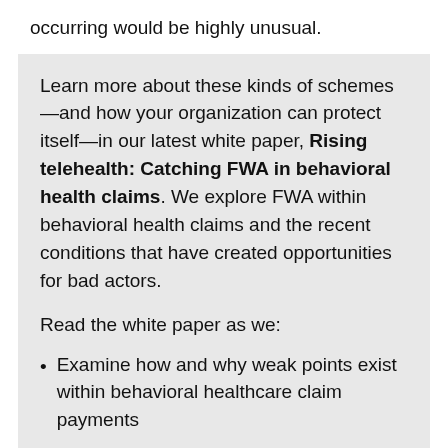occurring would be highly unusual.
Learn more about these kinds of schemes—and how your organization can protect itself—in our latest white paper, Rising telehealth: Catching FWA in behavioral health claims. We explore FWA within behavioral health claims and the recent conditions that have created opportunities for bad actors.
Read the white paper as we:
Examine how and why weak points exist within behavioral healthcare claim payments
Walk through FWA schemes related to